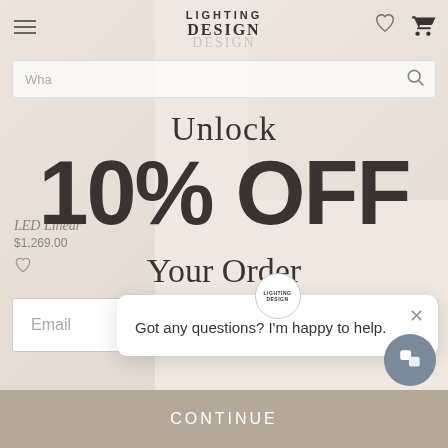LIGHTING DESIGN
Unlock
10% OFF
Your Order
LED Linear
$1,269.00
Got any questions? I'm happy to help.
Email
Continue